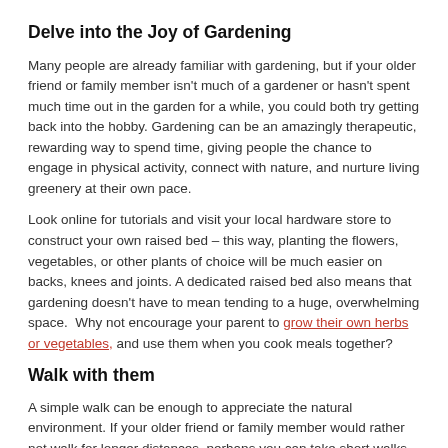Delve into the Joy of Gardening
Many people are already familiar with gardening, but if your older friend or family member isn't much of a gardener or hasn't spent much time out in the garden for a while, you could both try getting back into the hobby. Gardening can be an amazingly therapeutic, rewarding way to spend time, giving people the chance to engage in physical activity, connect with nature, and nurture living greenery at their own pace.
Look online for tutorials and visit your local hardware store to construct your own raised bed – this way, planting the flowers, vegetables, or other plants of choice will be much easier on backs, knees and joints. A dedicated raised bed also means that gardening doesn't have to mean tending to a huge, overwhelming space.  Why not encourage your parent to grow their own herbs or vegetables, and use them when you cook meals together?
Walk with them
A simple walk can be enough to appreciate the natural environment. If your older friend or family member would rather not walk for longer distances, perhaps you can take short walks in your